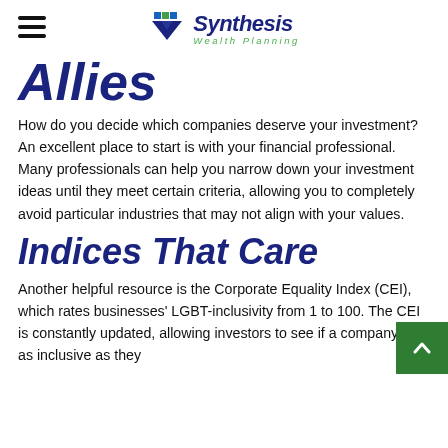Synthesis Wealth Planning
Allies
How do you decide which companies deserve your investment? An excellent place to start is with your financial professional. Many professionals can help you narrow down your investment ideas until they meet certain criteria, allowing you to completely avoid particular industries that may not align with your values.
Indices That Care
Another helpful resource is the Corporate Equality Index (CEI), which rates businesses' LGBT-inclusivity from 1 to 100. The CEI is constantly updated, allowing investors to see if a company is as inclusive as they